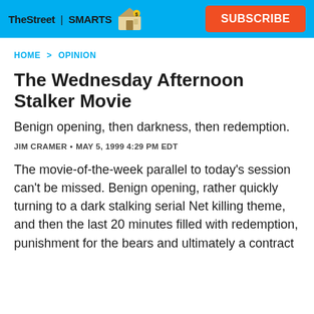TheStreet | SMARTS  SUBSCRIBE
HOME > OPINION
The Wednesday Afternoon Stalker Movie
Benign opening, then darkness, then redemption.
JIM CRAMER • MAY 5, 1999 4:29 PM EDT
The movie-of-the-week parallel to today's session can't be missed. Benign opening, rather quickly turning to a dark stalking serial Net killing theme, and then the last 20 minutes filled with redemption, punishment for the bears and ultimately a contract